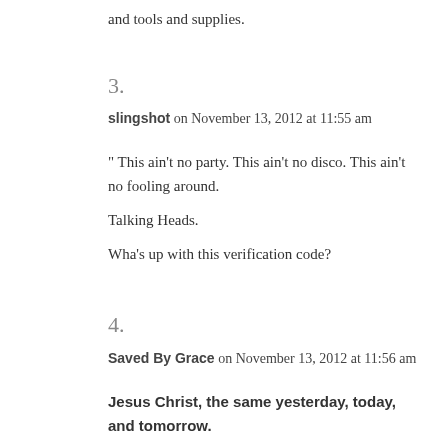and tools and supplies.
3.
slingshot on November 13, 2012 at 11:55 am
" This ain't no party. This ain't no disco. This ain't no fooling around.
Talking Heads.
Wha's up with this verification code?
4.
Saved By Grace on November 13, 2012 at 11:56 am
Jesus Christ, the same yesterday, today, and tomorrow.
5.